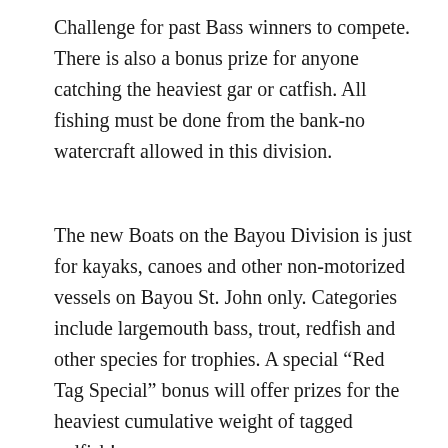Challenge for past Bass winners to compete. There is also a bonus prize for anyone catching the heaviest gar or catfish. All fishing must be done from the bank-no watercraft allowed in this division.
The new Boats on the Bayou Division is just for kayaks, canoes and other non-motorized vessels on Bayou St. John only. Categories include largemouth bass, trout, redfish and other species for trophies. A special “Red Tag Special” bonus will offer prizes for the heaviest cumulative weight of tagged redfish!